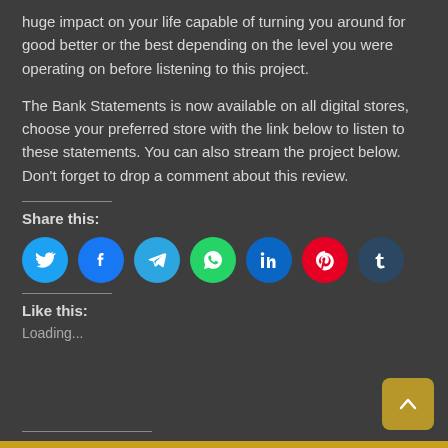huge impact on your life capable of turning you around for good better or the best depending on the level you were operating on before listening to this project.
The Bank Statements is now available on all digital stores, choose your preferred store with the link below to listen to these statements. You can also stream the project below. Don't forget to drop a comment about this review.
Share this:
[Figure (infographic): Row of social media share icons: Twitter (blue), Facebook (blue), Telegram (blue), WhatsApp (green), LinkedIn (blue), Pinterest (red), Tumblr (dark blue)]
Like this:
Loading...
RELATED POSTS